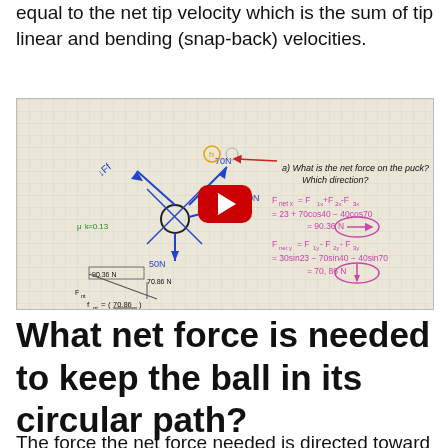equal to the net tip velocity which is the sum of tip linear and bending (snap-back) velocities.
[Figure (screenshot): YouTube video thumbnail showing handwritten physics problem about net force on a puck, with force diagrams, vectors labeled with values like 70N, 50N, 30N, and equations for Fnet x and Fnet y calculations yielding 90.36 N and 70.86 N, with a red YouTube play button in the center.]
What net force is needed to keep the ball in its circular path?
The force the net force needed is directed toward